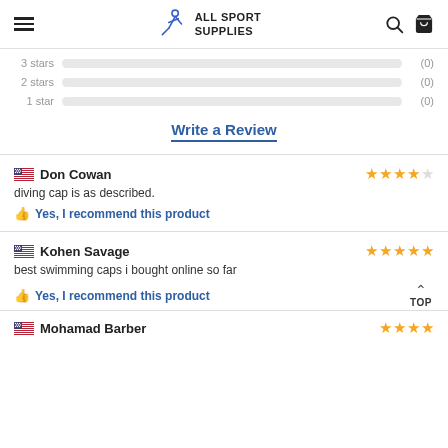ALL SPORT SUPPLIES
3 stars (0)
2 stars (0)
1 star (0)
Write a Review
Don Cowan — 4 stars — diving cap is as described. — Yes, I recommend this product
Kohen Savage — 5 stars — best swimming caps i bought online so far — Yes, I recommend this product
Mohamad Barber